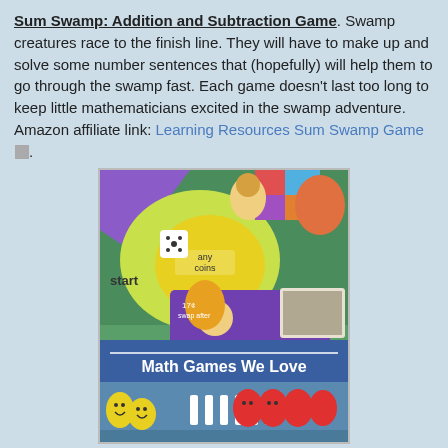Sum Swamp: Addition and Subtraction Game. Swamp creatures race to the finish line. They will have to make up and solve some number sentences that (hopefully) will help them to go through the swamp fast. Each game doesn't last too long to keep little mathematicians excited in the swamp adventure. Amazon affiliate link: Learning Resources Sum Swamp Game.
[Figure (photo): Photo of the Sum Swamp board game showing a colorful board with game pieces, cards, and a banner reading 'Math Games We Love'. Yellow and red egg-shaped game pieces are visible at the bottom, along with text 'My Bright Firefly'.]